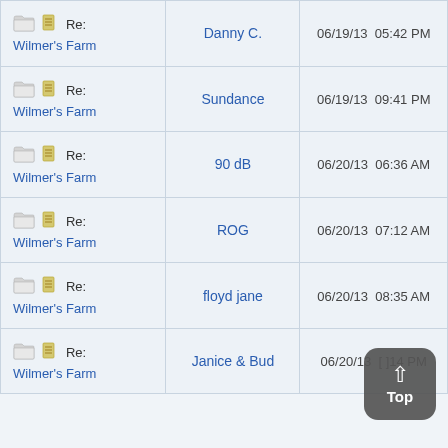| Subject | Author | Date |
| --- | --- | --- |
| Re: Wilmer's Farm | Danny C. | 06/19/13  05:42 PM |
| Re: Wilmer's Farm | Sundance | 06/19/13  09:41 PM |
| Re: Wilmer's Farm | 90 dB | 06/20/13  06:36 AM |
| Re: Wilmer's Farm | ROG | 06/20/13  07:12 AM |
| Re: Wilmer's Farm | floyd jane | 06/20/13  08:35 AM |
| Re: Wilmer's Farm | Janice & Bud | 06/20/13  [obscured] PM |